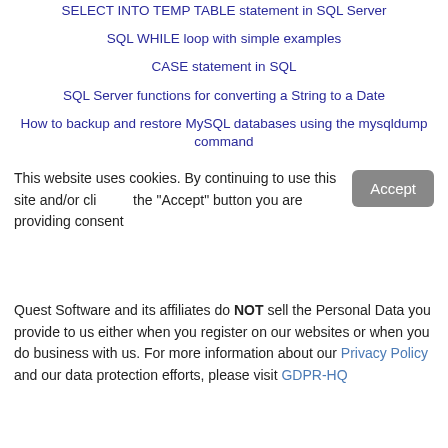SELECT INTO TEMP TABLE statement in SQL Server
SQL WHILE loop with simple examples
CASE statement in SQL
SQL Server functions for converting a String to a Date
How to backup and restore MySQL databases using the mysqldump command
Overview of SQL RANK functions
This website uses cookies. By continuing to use this site and/or clicking the "Accept" button you are providing consent
Quest Software and its affiliates do NOT sell the Personal Data you provide to us either when you register on our websites or when you do business with us. For more information about our Privacy Policy and our data protection efforts, please visit GDPR-HQ